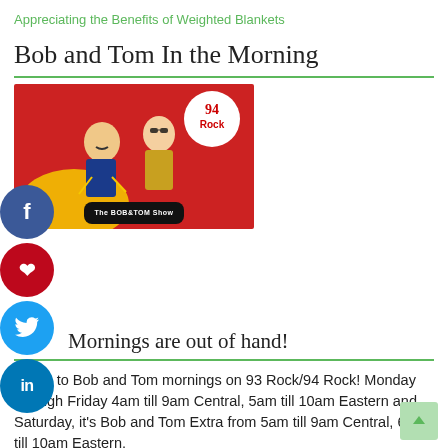Appreciating the Benefits of Weighted Blankets
Bob and Tom In the Morning
[Figure (photo): Bob and Tom Show cartoon image with two caricature figures on a red background with '94 Rock' branding and The Bob & Tom Show logo]
Mornings are out of hand!
Listen to Bob and Tom mornings on 93 Rock/94 Rock! Monday through Friday 4am till 9am Central, 5am till 10am Eastern and Saturday, it's Bob and Tom Extra from 5am till 9am Central, 6am till 10am Eastern.